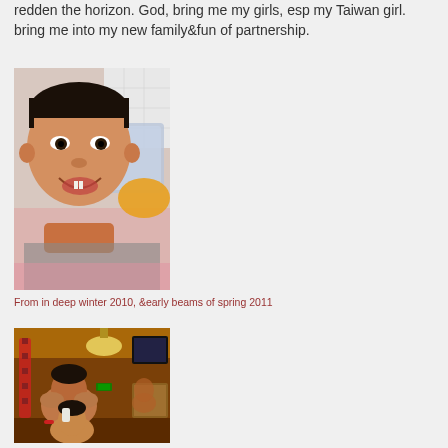redden the horizon. God, bring me my girls, esp my Taiwan girl. bring me into my new family&fun of partnership.
[Figure (photo): Photo of a young smiling Asian child in a bathtub, wet hair, shirtless, looking at the camera. Bathroom setting with white tiles and a bucket visible in the background.]
From in deep winter 2010, &early beams of spring 2011
[Figure (photo): Photo of people in a restaurant with warm orange/yellow lighting. A man and a child are visible in the foreground, with decorations and a TV visible in the background.]